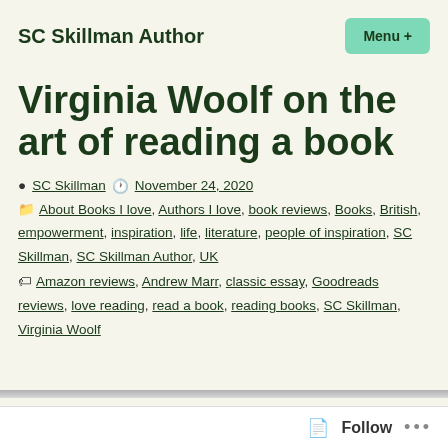SC Skillman Author
Virginia Woolf on the art of reading a book
SC Skillman   November 24, 2020
About Books I love, Authors I love, book reviews, Books, British, empowerment, inspiration, life, literature, people of inspiration, SC Skillman, SC Skillman Author, UK
Amazon reviews, Andrew Marr, classic essay, Goodreads reviews, love reading, read a book, reading books, SC Skillman, Virginia Woolf